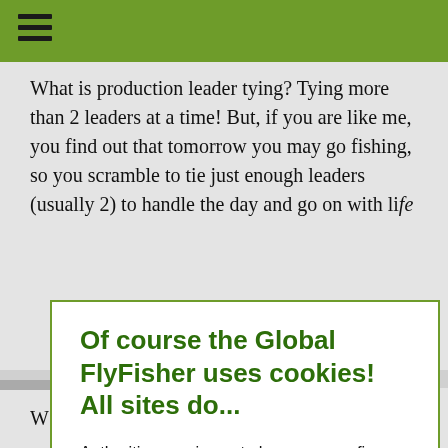What is production leader tying? Tying more than 2 leaders at a time! But, if you are like me, you find out that tomorrow you may go fishing, so you scramble to tie just enough leaders (usually 2) to handle the day and go on with life.
Of course the Global FlyFisher uses cookies! All sites do...
Authorities require us to have you confirm this by clicking any link on this page. You are then giving your consent for us to set cookies. No cookies, no GFF!
More about privacy and cookies
OK, I agree
cel?